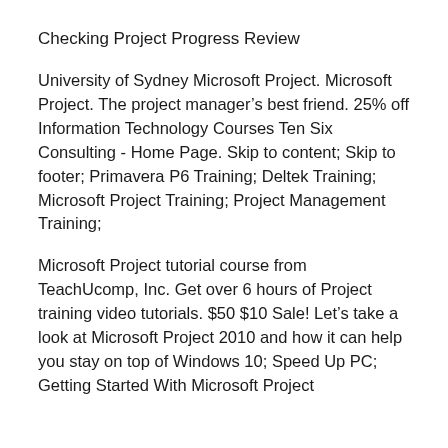Checking Project Progress Review
University of Sydney Microsoft Project. Microsoft Project. The project manager’s best friend. 25% off Information Technology Courses Ten Six Consulting - Home Page. Skip to content; Skip to footer; Primavera P6 Training; Deltek Training; Microsoft Project Training; Project Management Training;
Microsoft Project tutorial course from TeachUcomp, Inc. Get over 6 hours of Project training video tutorials. $50 $10 Sale! Let’s take a look at Microsoft Project 2010 and how it can help you stay on top of Windows 10; Speed Up PC; Getting Started With Microsoft Project